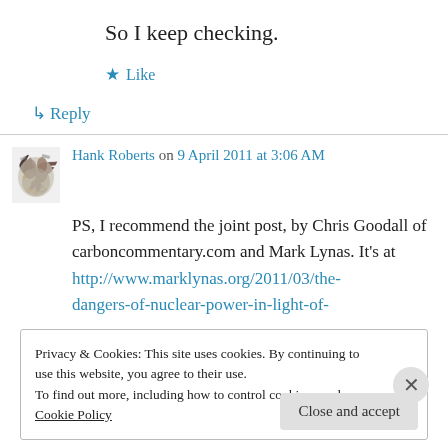So I keep checking.
★ Like
↳ Reply
Hank Roberts on 9 April 2011 at 3:06 AM
PS, I recommend the joint post, by Chris Goodall of carboncommentary.com and Mark Lynas. It's at http://www.marklynas.org/2011/03/the-dangers-of-nuclear-power-in-light-of-
Privacy & Cookies: This site uses cookies. By continuing to use this website, you agree to their use.
To find out more, including how to control cookies, see here: Cookie Policy
Close and accept